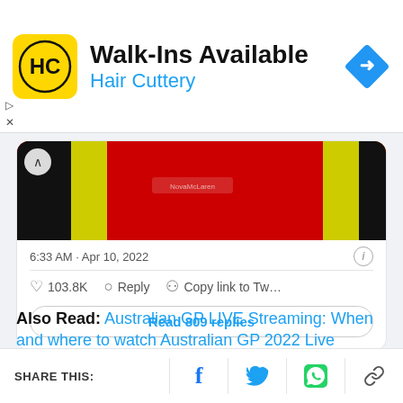[Figure (screenshot): Advertisement banner for Hair Cuttery with HC logo, 'Walk-Ins Available' headline, and directional sign icon]
[Figure (screenshot): Embedded tweet showing a close-up photo of red, yellow, and black Ferrari racing jacket/clothing. Tweet timestamp 6:33 AM Apr 10, 2022, with 103.8K likes, Reply and Copy link actions, and Read 809 replies button.]
Also Read: Australian GP LIVE Streaming: When and where to watch Australian GP 2022 Live
SHARE THIS: